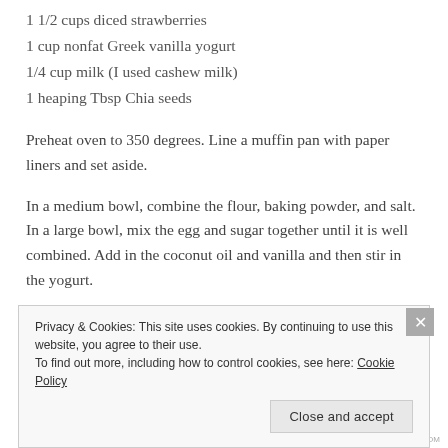1 1/2 cups diced strawberries
1 cup nonfat Greek vanilla yogurt
1/4 cup milk (I used cashew milk)
1 heaping Tbsp Chia seeds
Preheat oven to 350 degrees. Line a muffin pan with paper liners and set aside.
In a medium bowl, combine the flour, baking powder, and salt. In a large bowl, mix the egg and sugar together until it is well combined. Add in the coconut oil and vanilla and then stir in the yogurt.
Privacy & Cookies: This site uses cookies. By continuing to use this website, you agree to their use.
To find out more, including how to control cookies, see here: Cookie Policy
Close and accept